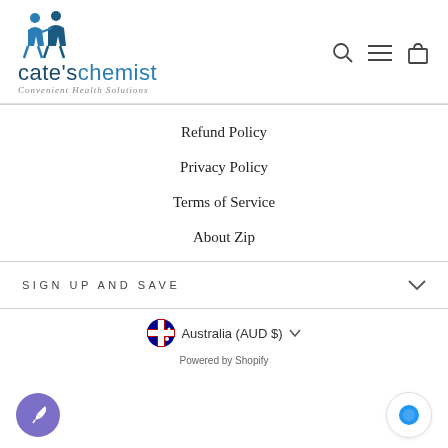[Figure (logo): Cate's Chemist logo with two figures icon, blue text 'cate'schemist' and italic subtitle 'Convenient Health Solutions']
Refund Policy
Privacy Policy
Terms of Service
About Zip
SIGN UP AND SAVE
Australia (AUD $)
Powered by Shopify